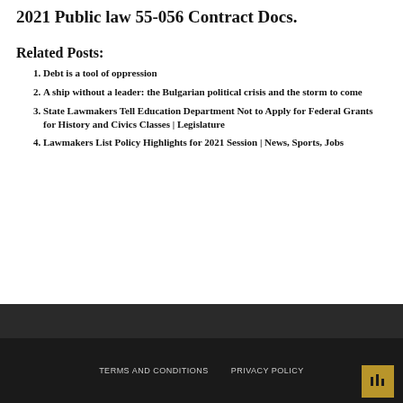2021 Public law 55-056 Contract Docs.
Related Posts:
Debt is a tool of oppression
A ship without a leader: the Bulgarian political crisis and the storm to come
State Lawmakers Tell Education Department Not to Apply for Federal Grants for History and Civics Classes | Legislature
Lawmakers List Policy Highlights for 2021 Session | News, Sports, Jobs
TERMS AND CONDITIONS   PRIVACY POLICY